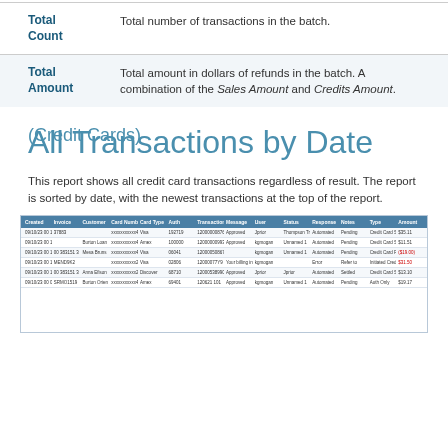| Term | Definition |
| --- | --- |
| Total Count | Total number of transactions in the batch. |
| Total Amount | Total amount in dollars of refunds in the batch. A combination of the Sales Amount and Credits Amount. |
All Transactions by Date
(Credit Cards)
This report shows all credit card transactions regardless of result. The report is sorted by date, with the newest transactions at the top of the report.
[Figure (screenshot): Screenshot of All Transactions by Date (Credit Cards) report table showing columns: Created, Invoice, Customer, Card Number, Card Type, Auth, Transaction ID, Message, User, Status, Response, Notes, Type, Amount with multiple transaction rows.]